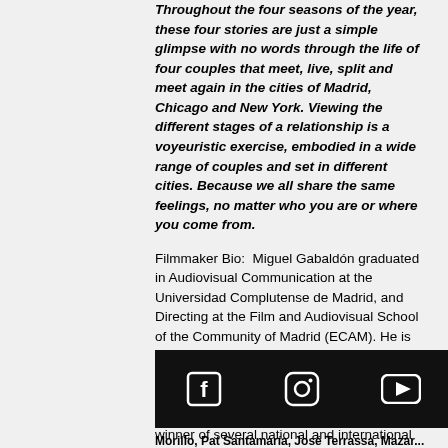Throughout the four seasons of the year, these four stories are just a simple glimpse with no words through the life of four couples that meet, live, split and meet again in the cities of Madrid, Chicago and New York. Viewing the different stages of a relationship is a voyeuristic exercise, embodied in a wide range of couples and set in different cities. Because we all share the same feelings, no matter who you are or where you come from.
Filmmaker Bio: Miguel Gabaldón graduated in Audiovisual Communication at the Universidad Complutense de Madrid, and Directing at the Film and Audiovisual School of the Community of Madrid (ECAM). He is the director and scriptwriter of several short films in digital video and 35mm, such as Pasajero (present in more than 50 international festivals) and Ha(r)d to say, winner of several national and international awards.
[Figure (other): Black footer bar with Facebook, Instagram, and YouTube social media icons in white]
Morillo, Pat Santamaría, José Terrassa, Mazar...